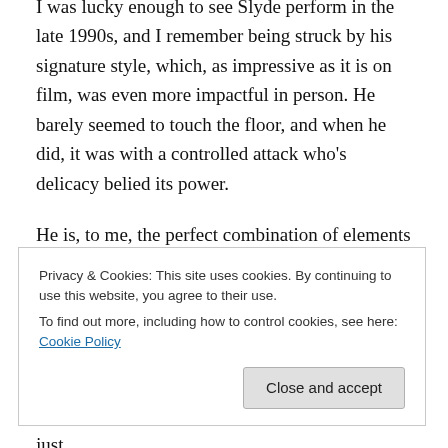I was lucky enough to see Slyde perform in the late 1990s, and I remember being struck by his signature style, which, as impressive as it is on film, was even more impactful in person. He barely seemed to touch the floor, and when he did, it was with a controlled attack who's delicacy belied its power.
He is, to me, the perfect combination of elements in a dancer. He has showmanship for miles, but it is understated, and he doesn't get in your face with it, merely dances and shows himself honestly and simply. He is an amazing technician, and never seems to miss a beat, but
Privacy & Cookies: This site uses cookies. By continuing to use this website, you agree to their use.
To find out more, including how to control cookies, see here: Cookie Policy
together and you feel, watching him, like you are just